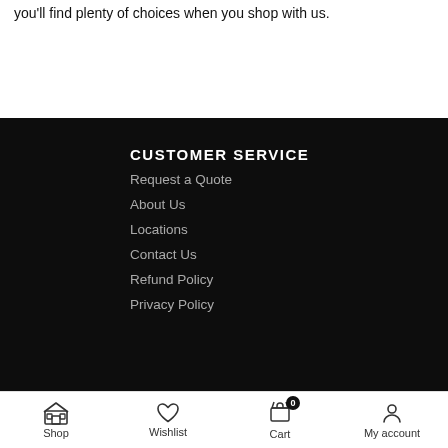you'll find plenty of choices when you shop with us.
CUSTOMER SERVICE
Request a Quote
About Us
Locations
Contact Us
Refund Policy
Privacy Policy
Shop  Wishlist  Cart 0  My account